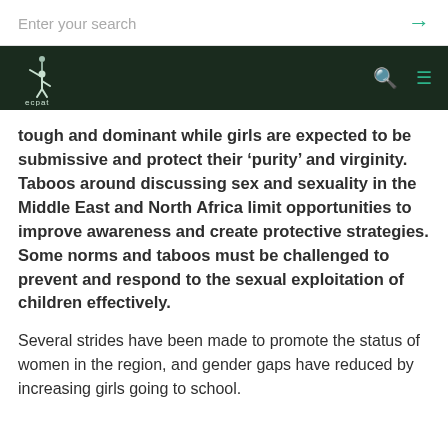Enter your search
tough and dominant while girls are expected to be submissive and protect their ‘purity’ and virginity. Taboos around discussing sex and sexuality in the Middle East and North Africa limit opportunities to improve awareness and create protective strategies. Some norms and taboos must be challenged to prevent and respond to the sexual exploitation of children effectively.
Several strides have been made to promote the status of women in the region, and gender gaps have reduced by increasing girls going to school.